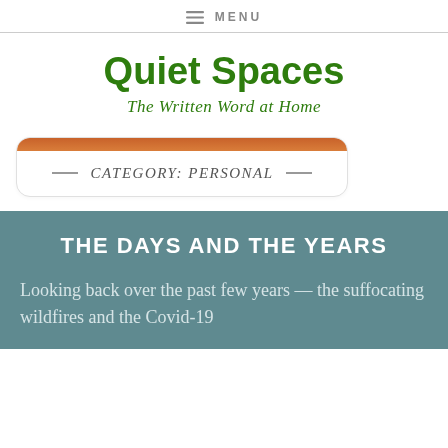≡ MENU
Quiet Spaces
The Written Word at Home
CATEGORY: PERSONAL
THE DAYS AND THE YEARS
Looking back over the past few years — the suffocating wildfires and the Covid-19